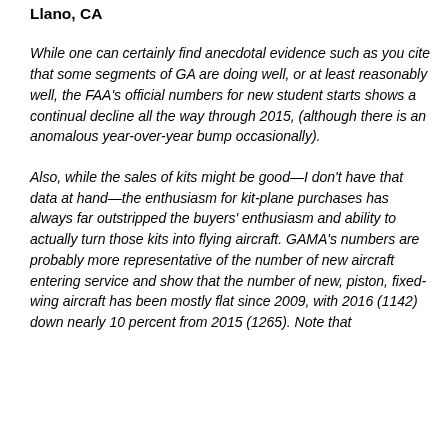Llano, CA
While one can certainly find anecdotal evidence such as you cite that some segments of GA are doing well, or at least reasonably well, the FAA's official numbers for new student starts shows a continual decline all the way through 2015, (although there is an anomalous year-over-year bump occasionally).
Also, while the sales of kits might be good—I don't have that data at hand—the enthusiasm for kit-plane purchases has always far outstripped the buyers' enthusiasm and ability to actually turn those kits into flying aircraft. GAMA's numbers are probably more representative of the number of new aircraft entering service and show that the number of new, piston, fixed-wing aircraft has been mostly flat since 2009, with 2016 (1142) down nearly 10 percent from 2015 (1265). Note that